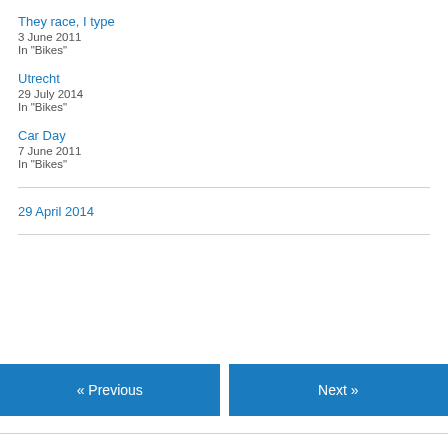They race, I type
3 June 2011
In "Bikes"
Utrecht
29 July 2014
In "Bikes"
Car Day
7 June 2011
In "Bikes"
29 April 2014
« Previous
Next »